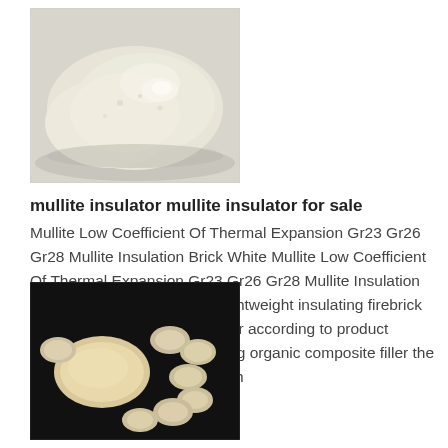[Figure (photo): A pile of white/cream colored mullite refractory powder on a light grey background.]
mullite insulator mullite insulator for sale
Mullite Low Coefficient Of Thermal Expansion Gr23 Gr26 Gr28 Mullite Insulation Brick White Mullite Low Coefficient Of Thermal Expansion Gr23 Gr26 Gr28 Mullite Insulation Brick also known as mullite lightweight insulating firebrick of high purity refractory powder according to product requirements proportion adding organic composite filler the vacuum extrusion molding high
[Figure (photo): Several oval/disc-shaped white mullite ceramic insulators arranged on a black background.]